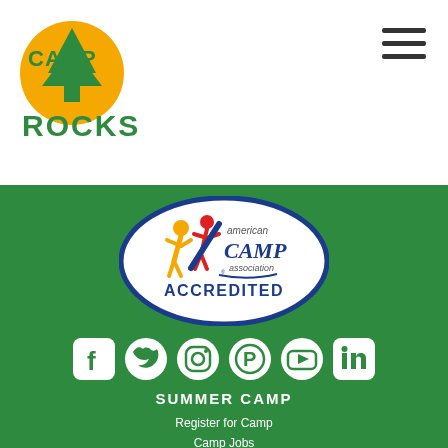[Figure (logo): Camp Rocks logo with tree icon in yellow/green circle, text CAMP ROCKS in green]
[Figure (illustration): Hamburger menu icon (three horizontal lines)]
[Figure (logo): American Camp Association Accredited oval badge logo]
[Figure (infographic): Six social media icons in white on green background: Facebook, Twitter, Instagram, Pinterest, YouTube, LinkedIn]
SUMMER CAMP
Register for Camp
Camp Jobs
Terms & Conditions
Privacy Policy